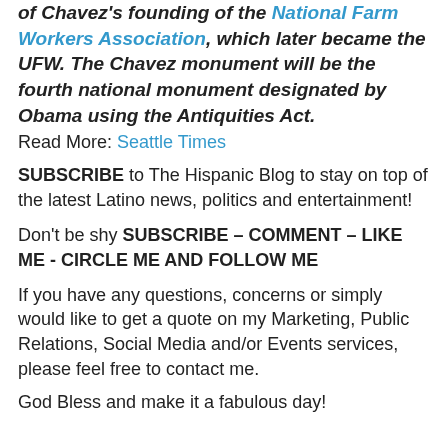of Chavez's founding of the National Farm Workers Association, which later became the UFW. The Chavez monument will be the fourth national monument designated by Obama using the Antiquities Act.
Read More: Seattle Times
SUBSCRIBE to The Hispanic Blog to stay on top of the latest Latino news, politics and entertainment!
Don't be shy SUBSCRIBE – COMMENT – LIKE ME - CIRCLE ME AND FOLLOW ME
If you have any questions, concerns or simply would like to get a quote on my Marketing, Public Relations, Social Media and/or Events services, please feel free to contact me.
God Bless and make it a fabulous day!